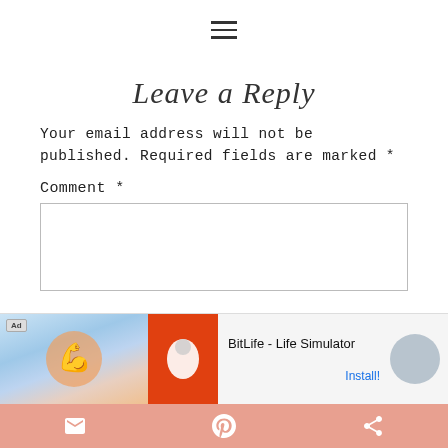≡ (hamburger menu icon)
Leave a Reply
Your email address will not be published. Required fields are marked *
Comment *
[Figure (screenshot): Comment text area input box (empty)]
[Figure (screenshot): Ad banner: BitLife - Life Simulator with Install button]
Bottom bar with email, Pinterest, and share icons